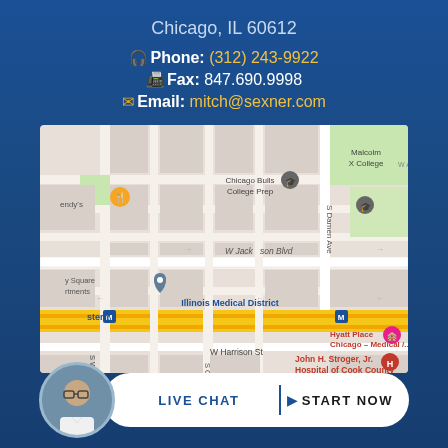Chicago, IL 60612
Phone: (312) 243-9922
Fax: 847.690.9998
Email: mitch@sexner.com
[Figure (map): Google Maps screenshot showing area around Illinois Medical District in Chicago, with W Jackson Blvd, W Harrison St, S Damen Ave, Hyatt Place Chicago Medical, John H. Stroger Jr. Hospital of Cook County, Chicago Bulls College Prep, Malcolm X College, Western M stop, and Illinois Medical District M stop visible.]
LIVE CHAT | START NOW